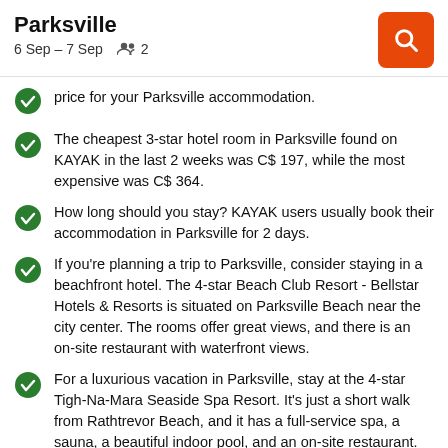Parksville
6 Sep – 7 Sep   2
…price for your Parksville accommodation.
The cheapest 3-star hotel room in Parksville found on KAYAK in the last 2 weeks was C$ 197, while the most expensive was C$ 364.
How long should you stay? KAYAK users usually book their accommodation in Parksville for 2 days.
If you're planning a trip to Parksville, consider staying in a beachfront hotel. The 4-star Beach Club Resort - Bellstar Hotels & Resorts is situated on Parksville Beach near the city center. The rooms offer great views, and there is an on-site restaurant with waterfront views.
For a luxurious vacation in Parksville, stay at the 4-star Tigh-Na-Mara Seaside Spa Resort. It's just a short walk from Rathtrevor Beach, and it has a full-service spa, a sauna, a beautiful indoor pool, and an on-site restaurant. You might also consider the 4-star Ocean Trail Resort, also near Rathtrevor Beach. It has a